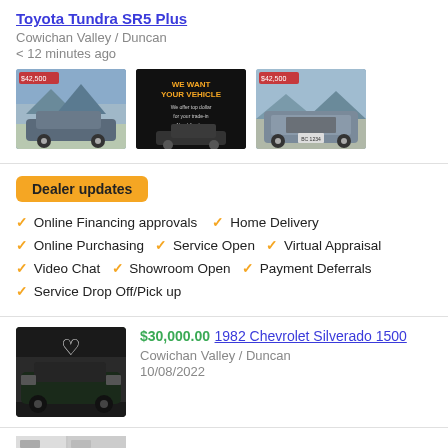Toyota Tundra SR5 Plus
Cowichan Valley / Duncan
< 12 minutes ago
[Figure (photo): Three thumbnail images of Toyota Tundra SR5 Plus: front/side view, dealer sign reading 'WE WANT YOUR VEHICLE', and rear view]
Dealer updates
Online Financing approvals
Home Delivery
Online Purchasing
Service Open
Virtual Appraisal
Video Chat
Showroom Open
Payment Deferrals
Service Drop Off/Pick up
$30,000.00
1982 Chevrolet Silverado 1500
Cowichan Valley / Duncan
10/08/2022
[Figure (photo): Thumbnail of black 1982 Chevrolet Silverado 1500 truck with heart icon overlay]
$40,397.00